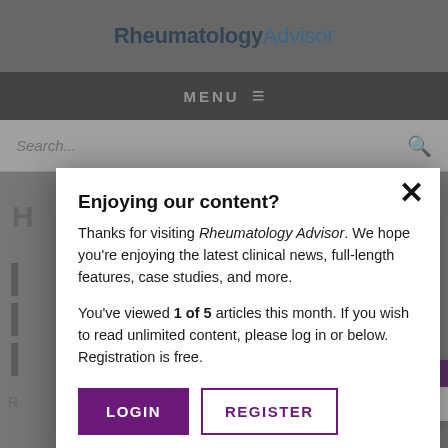RheumatologyAdvisor
MENU ≡
Search...
[Figure (screenshot): Background page content of Rheumatology Advisor website, partially obscured by modal overlay]
Enjoying our content?
Thanks for visiting Rheumatology Advisor. We hope you're enjoying the latest clinical news, full-length features, case studies, and more.

You've viewed 1 of 5 articles this month. If you wish to read unlimited content, please log in or below. Registration is free.
LOGIN
REGISTER
NEXT POST IN
ACA Plan Pre